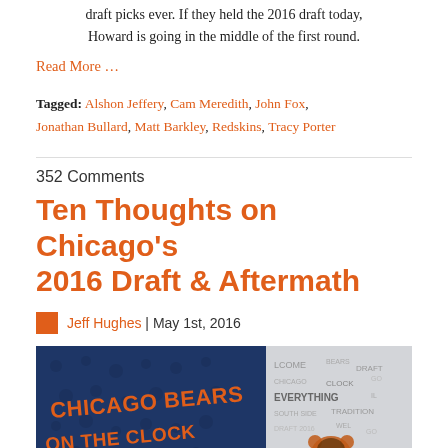draft picks ever. If they held the 2016 draft today, Howard is going in the middle of the first round.
Read More …
Tagged: Alshon Jeffery, Cam Meredith, John Fox, Jonathan Bullard, Matt Barkley, Redskins, Tracy Porter
352 Comments
Ten Thoughts on Chicago's 2016 Draft & Aftermath
Jeff Hughes | May 1st, 2016
[Figure (photo): Chicago Bears on the Clock banner with draft-themed background imagery]